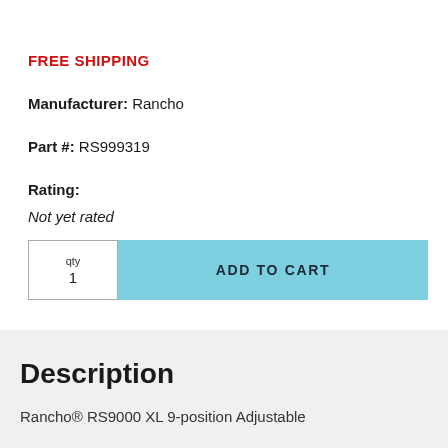FREE SHIPPING
Manufacturer: Rancho
Part #: RS999319
Rating:
Not yet rated
qty 1  ADD TO CART
Description
Rancho® RS9000 XL 9-position Adjustable